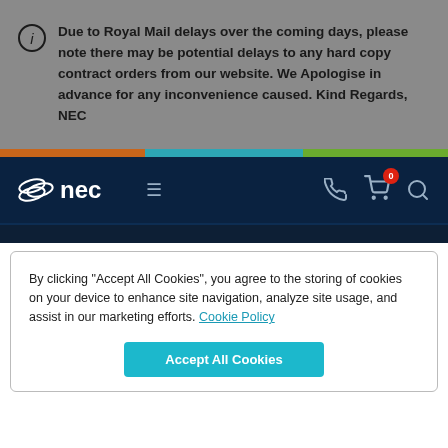Due to Royal Mail delays over the coming days, please note there may be potential delays to any hard copy contract orders from our website. We Apologise in advance for any inconvenience caused. Kind Regards, NEC
[Figure (screenshot): NEC website navigation bar with logo, hamburger menu, phone icon, cart icon with badge showing 0, and search icon]
By clicking “Accept All Cookies”, you agree to the storing of cookies on your device to enhance site navigation, analyze site usage, and assist in our marketing efforts. Cookie Policy
Accept All Cookies